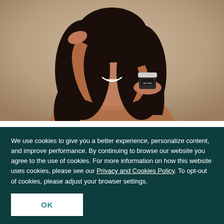[Figure (photo): A young woman with long dark hair smiling and holding a small skincare product jar (labeled CELLPRO or similar) in her palm, raising one hand above it. She is bare-shouldered against a warm beige/tan background.]
We use cookies to give you a better experience, personalize content, and improve performance. By continuing to browse our website you agree to the use of cookies. For more information on how this website uses cookies, please see our Privacy and Cookies Policy. To opt-out of cookies, please adjust your browser settings.
OK